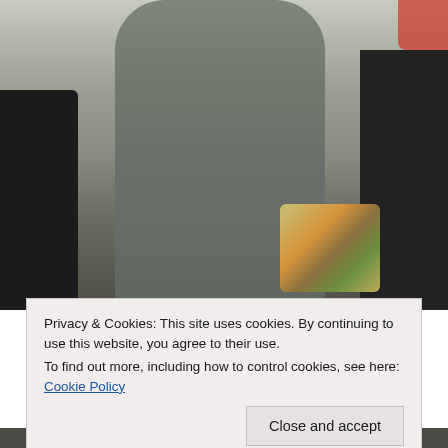[Figure (photo): A woman in a gray form-fitting long-sleeve dress waving with one hand and holding a phone in the other, carrying a colorful striped bag, standing near a dark car]
Privacy & Cookies: This site uses cookies. By continuing to use this website, you agree to their use.
To find out more, including how to control cookies, see here: Cookie Policy